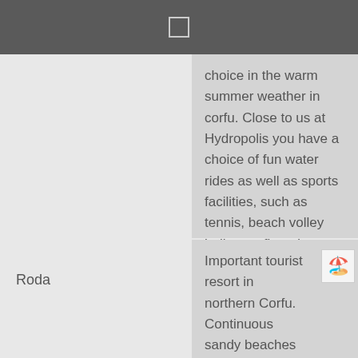choice in the warm summer weather in corfu. Close to us at Hydropolis you have a choice of fun water rides as well as sports facilities, such as tennis, beach volley ball, aquafit and water games. You can also learn how to scuba dive here. There is a small zoo with ducks, geese, ostriches, wild fowl, peacocks and rabbits. Children are made welcome and there are many child facilities, including a children's pool and water slide.
Roda
Important tourist resort in northern Corfu. Continuous sandy beaches stretching to the Apraos and St.